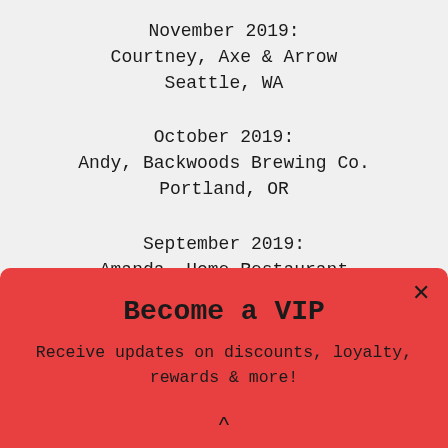November 2019:
Courtney, Axe & Arrow
Seattle, WA
October 2019:
Andy, Backwoods Brewing Co.
Portland, OR
September 2019:
Amanda, Home Restaurant
Los Angeles, CA
Become a VIP
Receive updates on discounts, loyalty, rewards & more!